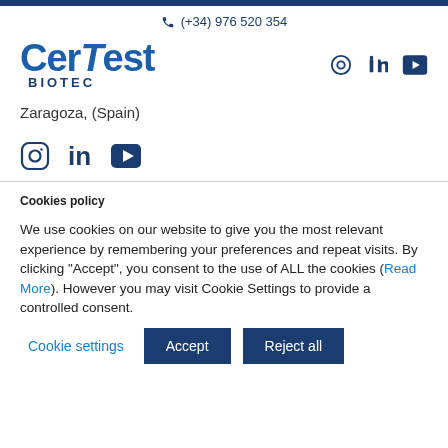(+34) 976 520 354
[Figure (logo): CerTest BIOTEC company logo in blue]
Zaragoza, (Spain)
[Figure (infographic): Social media icons: Instagram, LinkedIn, YouTube]
Cookies policy
We use cookies on our website to give you the most relevant experience by remembering your preferences and repeat visits. By clicking “Accept”, you consent to the use of ALL the cookies (Read More). However you may visit Cookie Settings to provide a controlled consent.
Cookie settings | Accept | Reject all